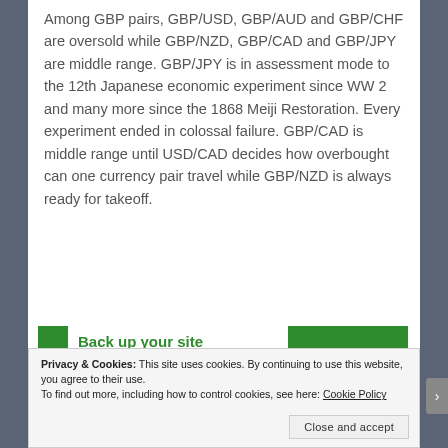Among GBP pairs, GBP/USD, GBP/AUD and GBP/CHF are oversold while GBP/NZD, GBP/CAD and GBP/JPY are middle range. GBP/JPY is in assessment mode to the 12th Japanese economic experiment since WW 2 and many more since the 1868 Meiji Restoration. Every experiment ended in colossal failure. GBP/CAD is middle range until USD/CAD decides how overbought can one currency pair travel while GBP/NZD is always ready for takeoff.
[Figure (infographic): Advertisement banner showing green squares and 'Back up your site' text in green]
Privacy & Cookies: This site uses cookies. By continuing to use this website, you agree to their use.
To find out more, including how to control cookies, see here: Cookie Policy